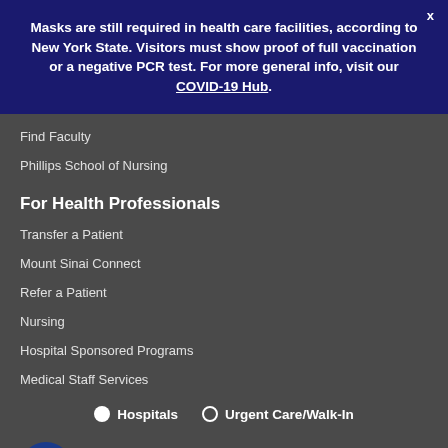Masks are still required in health care facilities, according to New York State. Visitors must show proof of full vaccination or a negative PCR test. For more general info, visit our COVID-19 Hub.
Find Faculty
Phillips School of Nursing
For Health Professionals
Transfer a Patient
Mount Sinai Connect
Refer a Patient
Nursing
Hospital Sponsored Programs
Medical Staff Services
● Hospitals   ○ Urgent Care/Walk-In
Choose a location